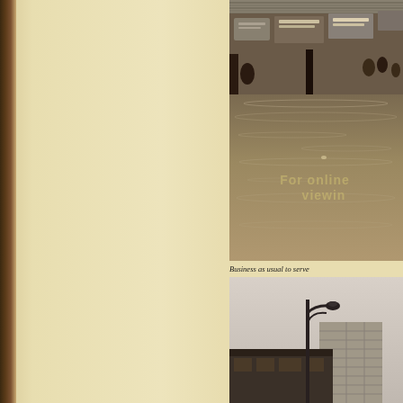[Figure (photo): Black and white photograph of a flooded marketplace or commercial area with floodwaters reaching mid-building level. Signs and storefronts visible in background. Watermark text 'For online viewing' overlaid on the image.]
Business as usual to serve
[Figure (photo): Black and white photograph of an urban street scene showing a lamp post and multi-story building in the background.]